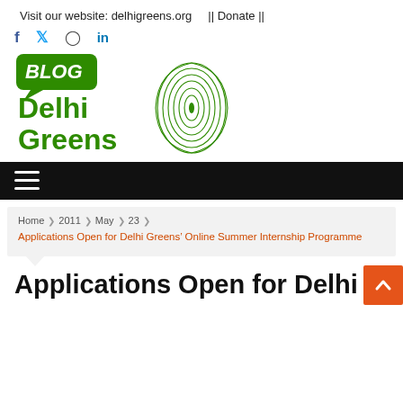Visit our website: delhigreens.org    || Donate ||
[Figure (logo): Blog Delhi Greens logo with fingerprint graphic]
[Figure (infographic): Black navigation bar with hamburger menu icon]
Home > 2011 > May > 23 > Applications Open for Delhi Greens' Online Summer Internship Programme
Applications Open for Delhi